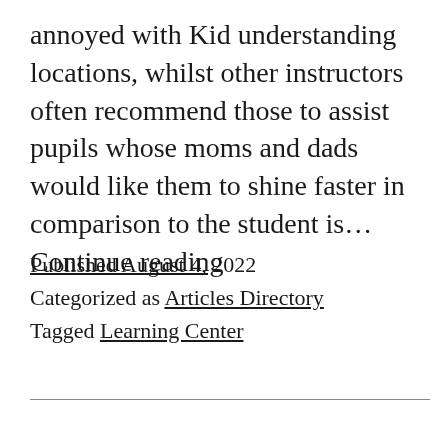annoyed with Kid understanding locations, whilst other instructors often recommend those to assist pupils whose moms and dads would like them to shine faster in comparison to the student is… Continue reading
Published August 4, 2022
Categorized as Articles Directory
Tagged Learning Center